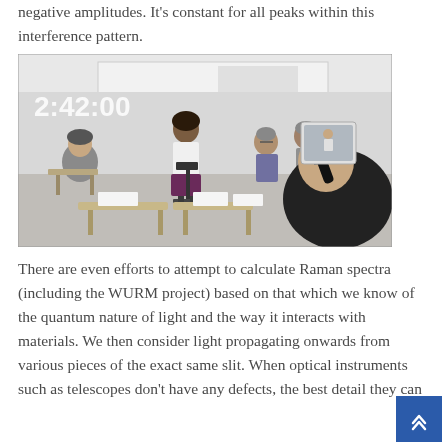negative amplitudes. It's constant for all peaks within this interference pattern.
[Figure (photo): A classroom scene with a student giving a presentation at a podium in front of a whiteboard. Other students sit at desks, and a man in a suit at the bottom-right films the presenter with a tablet. A timestamp reads 2:42:00 in the upper left of the image.]
There are even efforts to attempt to calculate Raman spectra (including the WURM project) based on that which we know of the quantum nature of light and the way it interacts with materials. We then consider light propagating onwards from various pieces of the exact same slit. When optical instruments such as telescopes don't have any defects, the best detail they can